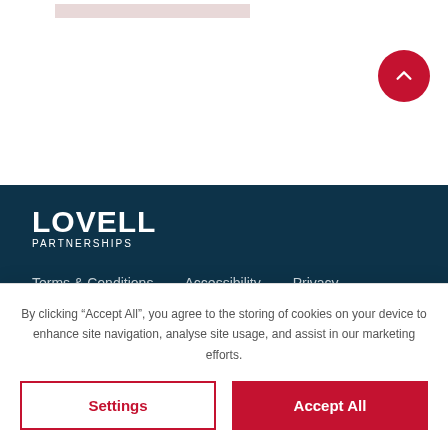[Figure (logo): Lovell Partnerships logo in white on dark teal background]
Terms & Conditions
Accessibility
Privacy
Cookie Policy
Modern Slavery Statement
Gender Pay Gap
© Lovell Partnerships 2022 | All rights reserved
By clicking “Accept All”, you agree to the storing of cookies on your device to enhance site navigation, analyse site usage, and assist in our marketing efforts.
Settings
Accept All